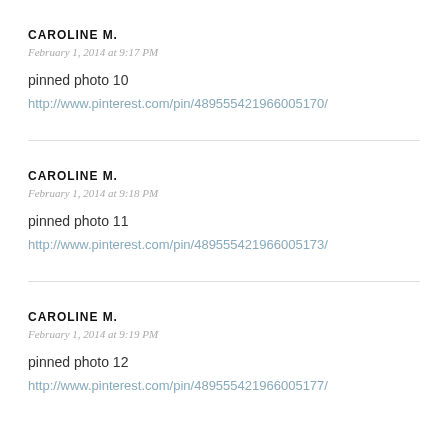CAROLINE M.
February 1, 2014 at 9:17 PM
pinned photo 10
http://www.pinterest.com/pin/489555421966005170/
CAROLINE M.
February 1, 2014 at 9:18 PM
pinned photo 11
http://www.pinterest.com/pin/489555421966005173/
CAROLINE M.
February 1, 2014 at 9:19 PM
pinned photo 12
http://www.pinterest.com/pin/489555421966005177/